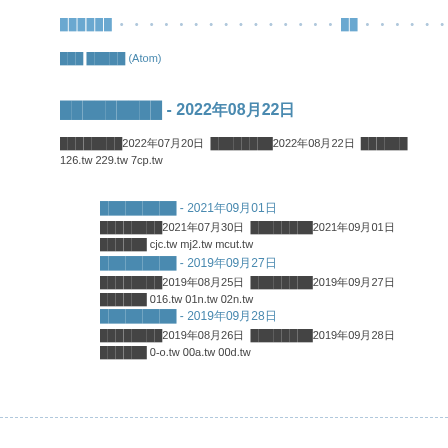██████ • • • • • • • • • • • • • • •  ██ • • • • • •
███ █████ (Atom)
█████████ - 2022年08月22日
████████2022年07月20日 ████████2022年08月22日 ██████ 126.tw 229.tw 7cp.tw
█████████ - 2021年09月01日
████████2021年07月30日 ████████2021年09月01日 ██████ cjc.tw mj2.tw mcut.tw
█████████ - 2019年09月27日
████████2019年08月25日 ████████2019年09月27日 ██████ 016.tw 01n.tw 02n.tw
█████████ - 2019年09月28日
████████2019年08月26日 ████████2019年09月28日 ██████ 0-o.tw 00a.tw 00d.tw